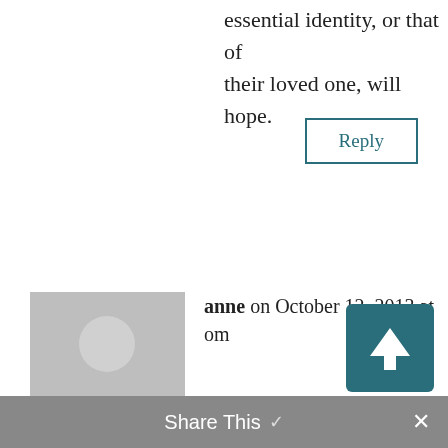essential identity, or that of their loved one, will hope.
Reply
anne on October 12, 2013 at om
crine and Covenants 132: 15 Therefore, if a man marry him a wife in the world, and he marry her not by me nor by my word, and he covenant with her so long as he is in the world and she with him, the covenant and marriage are of no force when they are
Share This ×